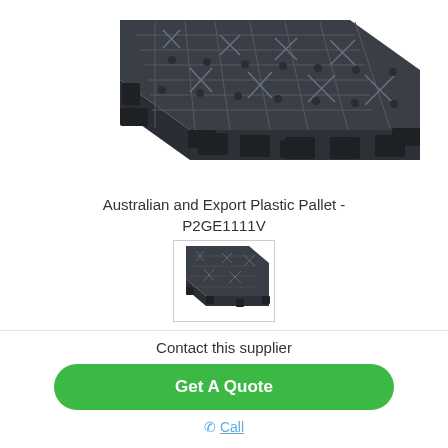[Figure (photo): Large dark grey plastic pallet viewed from above at an angle, showing perforated surface with cross-hatch pattern and multiple feet underneath]
Australian and Export Plastic Pallet - P2GE1111V
[Figure (photo): Small thumbnail image of the same dark grey plastic pallet viewed from an angle, showing perforated top surface]
Contact this supplier
Get A Quote
Call